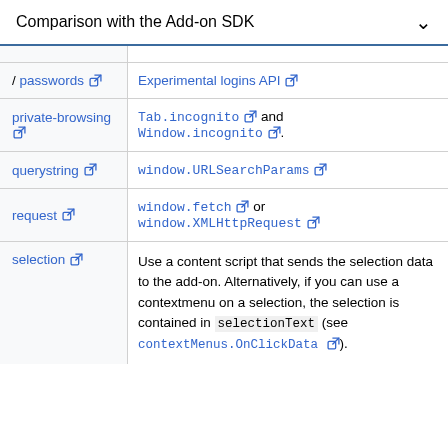Comparison with the Add-on SDK
| SDK feature | WebExtensions equivalent |
| --- | --- |
| / passwords [ext-link] | Experimental logins API [ext-link] |
| private-browsing [ext-link] | Tab.incognito [ext-link] and Window.incognito [ext-link]. |
| querystring [ext-link] | window.URLSearchParams [ext-link] |
| request [ext-link] | window.fetch [ext-link] or window.XMLHttpRequest [ext-link] |
| selection [ext-link] | Use a content script that sends the selection data to the add-on. Alternatively, if you can use a contextmenu on a selection, the selection is contained in selectionText (see contextMenus.OnClickData [ext-link]). |